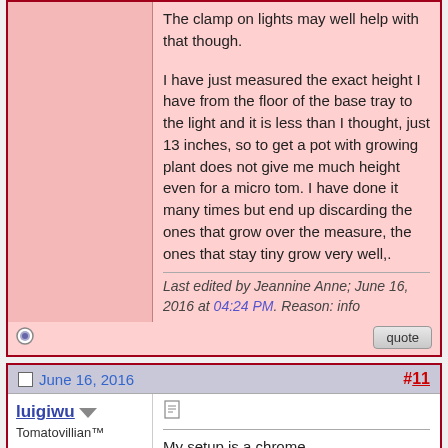The clamp on lights may well help with that though.
I have just measured the exact height I have from the floor of the base tray to the light and it is less than I thought, just 13 inches, so to get a pot with growing plant does not give me much height even for a micro tom. I have done it many times but end up discarding the ones that grow over the measure, the ones that stay tiny grow very well,.
Last edited by Jeannine Anne; June 16, 2016 at 04:24 PM. Reason: info
June 16, 2016
#11
luigiwu
Tomatovillian™
My setup is a chrome